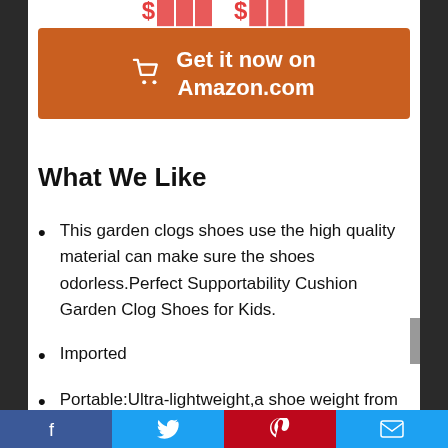[Figure (screenshot): Partially visible price text in red at the top of the page, cropped]
[Figure (other): Orange Amazon 'Get it now on Amazon.com' button with shopping cart icon]
What We Like
This garden clogs shoes use the high quality material can make sure the shoes odorless.Perfect Supportability Cushion Garden Clog Shoes for Kids.
Imported
Portable:Ultra-lightweight,a shoe weight from 100-120g which
Facebook | Twitter | Pinterest | Email